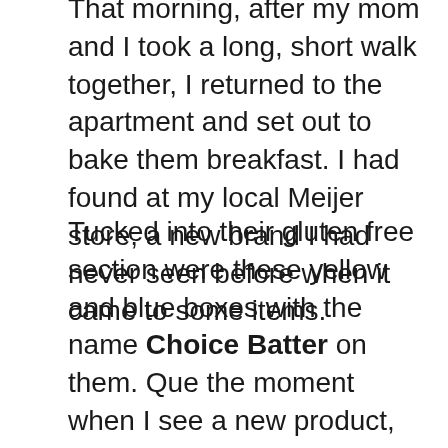That morning, after my mom and I took a long, short walk together, I returned to the apartment and set out to bake them breakfast.  I had found at my local Meijer store, a new brand I had never seen before when it came to some items.
Tucked into their gluten free section were these yellow and blue boxes with the name Choice Batter on them.  Que the moment when I see a new product, get super excited, buy it regardless of it not being on my grocery list, and then bring it home and shove it into the pantry.  I do this every freakin' time.  My pantry has a shelf dedicated to cake, muffin, brownie, cookie, all the sweets mixes!  I know I'm big on dessert, but I do get carried away at times.
Regardless, this was the box I pulled out that Sunday morning and set out to bake up some muffins so my parents could hit the road with some breakfast in their